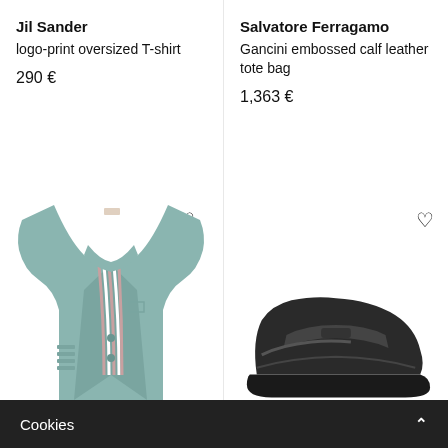Jil Sander
logo-print oversized T-shirt
290 €
Salvatore Ferragamo
Gancini embossed calf leather tote bag
1,363 €
[Figure (photo): Thom Browne light blue/grey four-bar stripe blazer on white background]
[Figure (photo): Black leather penny loafer shoes on white background]
Cookies